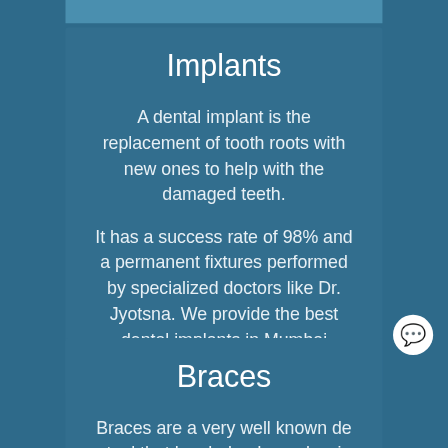Implants
A dental implant is the replacement of tooth roots with new ones to help with the damaged teeth.
It has a success rate of 98% and a permanent fixtures performed by specialized doctors like Dr. Jyotsna. We provide the best dental implants in Mumbai
Braces
Braces are a very well known de tool that has helped people wi crowding; crooked teeth of all ages